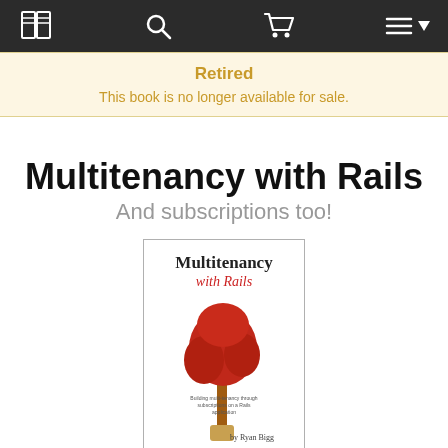[Navigation bar with book icon, search, cart, and menu]
Retired
This book is no longer available for sale.
Multitenancy with Rails
And subscriptions too!
[Figure (illustration): Book cover for 'Multitenancy with Rails' by Ryan Bigg, featuring a red tree illustration]
This book is 100% complete